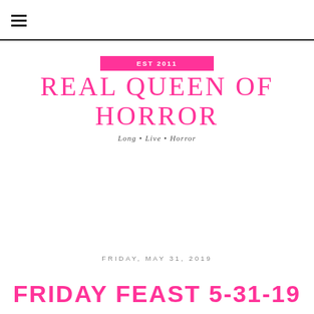☰ (menu icon)
[Figure (logo): Real Queen of Horror blog logo with pink EST 2011 badge, large serif title text 'REAL QUEEN OF HORROR' in pink, and tagline 'Long • Live • Horror' in gray italic]
FRIDAY, MAY 31, 2019
FRIDAY FEAST 5-31-19